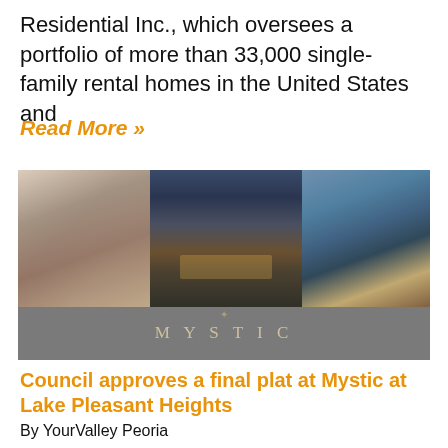Residential Inc., which oversees a portfolio of more than 33,000 single-family rental homes in the United States and
Read More »
[Figure (photo): Triptych photo collage showing three real estate images: left panel shows an interior living space, center panel shows a night/dusk exterior view of a property with mountains and dramatic sky, right panel shows a waterside scene. Below the photos is a gray bar with the text 'MYSTIC' in spaced letters and a decorative emblem above.]
Council approves a final plat at Mystic at Lake Pleasant Heights
By YourValley Peoria